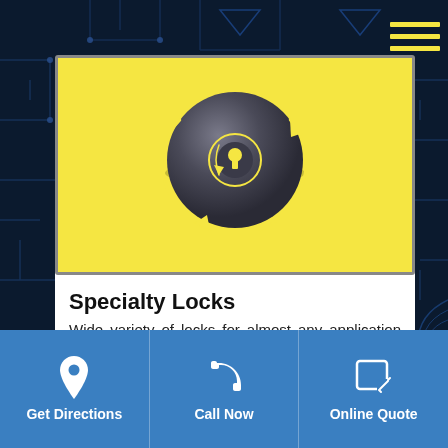[Figure (illustration): Dark tech/circuit board background with blue tones]
[Figure (logo): Yellow background card with a dark gray spherical lock/deadbolt logo with yellow spiral arrow detail]
Specialty Locks
Wide variety of locks for almost any application from mortise and shabbat locks
Get Directions
Call Now
Online Quote